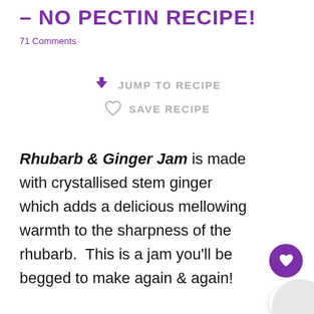– NO PECTIN RECIPE!
71 Comments
JUMP TO RECIPE
SAVE RECIPE
Rhubarb & Ginger Jam is made with crystallised stem ginger which adds a delicious mellowing warmth to the sharpness of the rhubarb.  This is a jam you'll be begged to make again & again!